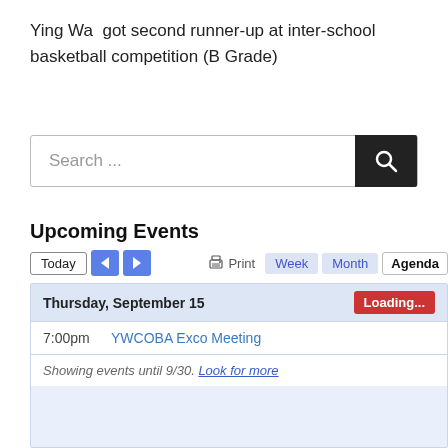Ying Wa  got second runner-up at inter-school basketball competition (B Grade)
[Figure (screenshot): Search box with magnifying glass icon button]
Upcoming Events
[Figure (screenshot): Calendar agenda view showing Thursday September 15 with YWCOBA Exco Meeting at 7:00pm and a loading badge. Shows events until 9/30 with Look for more link.]